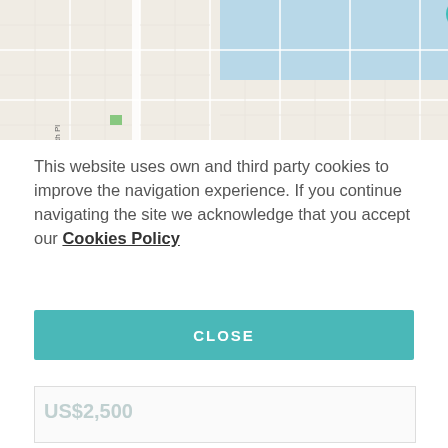[Figure (map): Street map showing El Dorado Pkwy W, SW 16th Pl, Pelican area, Miramar St with water features (blue areas) and streets in a Cape Coral/Florida style map. A teal location pin with H icon is visible near the top center.]
This website uses own and third party cookies to improve the navigation experience. If you continue navigating the site we acknowledge that you accept our Cookies Policy
CLOSE
US$2,500